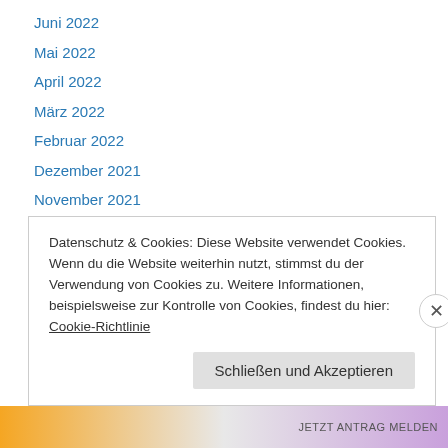Juni 2022
Mai 2022
April 2022
März 2022
Februar 2022
Dezember 2021
November 2021
Oktober 2021
September 2021
August 2021
Dezember 2020
November 2020
September 2020
Datenschutz & Cookies: Diese Website verwendet Cookies. Wenn du die Website weiterhin nutzt, stimmst du der Verwendung von Cookies zu. Weitere Informationen, beispielsweise zur Kontrolle von Cookies, findest du hier: Cookie-Richtlinie
Schließen und Akzeptieren